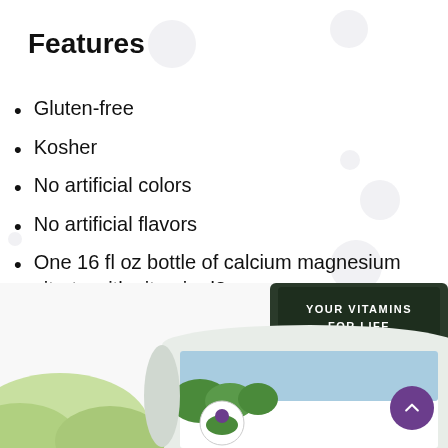Features
Gluten-free
Kosher
No artificial colors
No artificial flavors
One 16 fl oz bottle of calcium magnesium citrate with vitamin d3
[Figure (photo): Product bottle with dark cap labeled 'YOUR VITAMINS FOR LIFE' and label showing a nature scene with a logo at the bottom, partially cropped at the bottom of the page.]